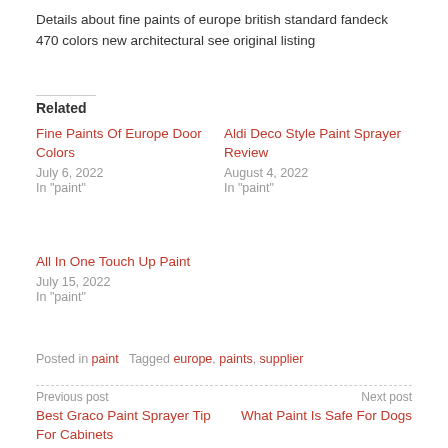Details about fine paints of europe british standard fandeck 470 colors new architectural see original listing
Related
Fine Paints Of Europe Door Colors
July 6, 2022
In "paint"
Aldi Deco Style Paint Sprayer Review
August 4, 2022
In "paint"
All In One Touch Up Paint
July 15, 2022
In "paint"
Posted in paint   Tagged europe, paints, supplier
Previous post
Best Graco Paint Sprayer Tip For Cabinets
Next post
What Paint Is Safe For Dogs